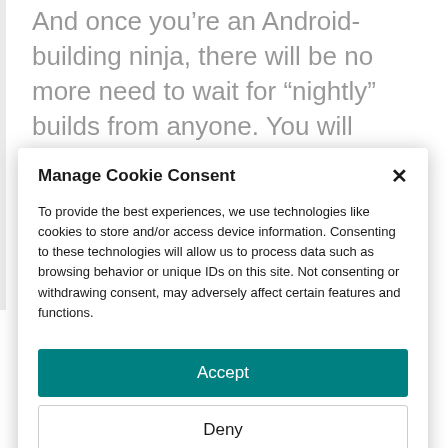And once you’re an Android-building ninja, there will be no more need to wait for “nightly” builds from anyone. You will have at your fingertips the skills to build a full operating system from code and install it to a running device
Manage Cookie Consent
To provide the best experiences, we use technologies like cookies to store and/or access device information. Consenting to these technologies will allow us to process data such as browsing behavior or unique IDs on this site. Not consenting or withdrawing consent, may adversely affect certain features and functions.
Accept
Deny
Cookie Policy  Privacy Policy